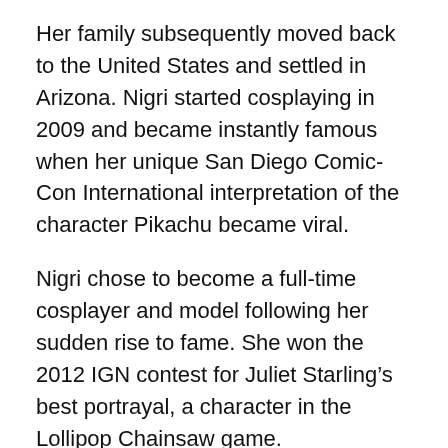Her family subsequently moved back to the United States and settled in Arizona. Nigri started cosplaying in 2009 and became instantly famous when her unique San Diego Comic-Con International interpretation of the character Pikachu became viral.
Nigri chose to become a full-time cosplayer and model following her sudden rise to fame. She won the 2012 IGN contest for Juliet Starling’s best portrayal, a character in the Lollipop Chainsaw game.
She was eventually hired to be the spokeswoman for the in...